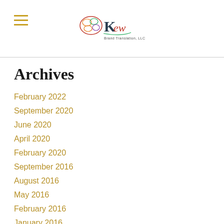Kew Brand Translation, LLC — header with hamburger menu and logo
Archives
February 2022
September 2020
June 2020
April 2020
February 2020
September 2016
August 2016
May 2016
February 2016
January 2016
November 2015
September 2015
June 2015
December 2014